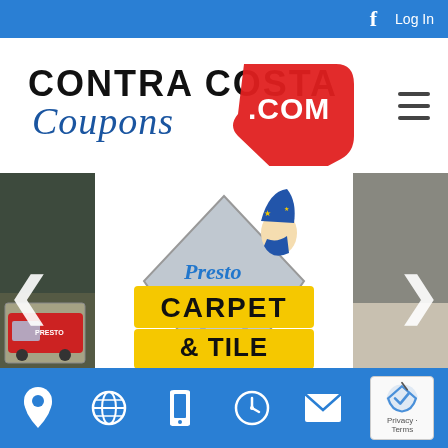f  Log In
[Figure (logo): Contra Costa Coupons.com logo with red price tag and blue script text]
[Figure (logo): Presto Carpet & Tile Cleaning logo with wizard mascot, yellow bold text, diamond shape and navigation arrows on sides]
Location | Website | Phone | Hours | Email | Privacy - Terms (reCAPTCHA)